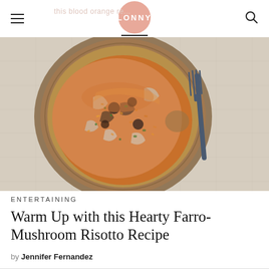LONNY
[Figure (photo): Overhead view of a rustic wooden bowl filled with farro-mushroom risotto topped with herbs, with a dark blue fork on the right side, placed on a linen cloth]
ENTERTAINING
Warm Up with this Hearty Farro-Mushroom Risotto Recipe
by Jennifer Fernandez